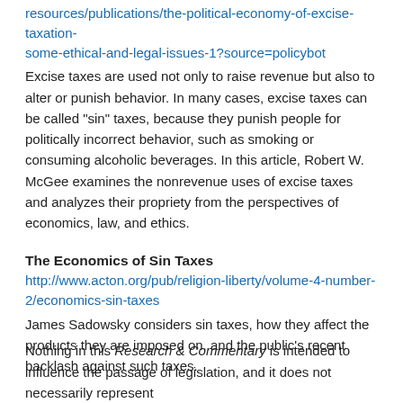resources/publications/the-political-economy-of-excise-taxation-some-ethical-and-legal-issues-1?source=policybot
Excise taxes are used not only to raise revenue but also to alter or punish behavior. In many cases, excise taxes can be called “sin” taxes, because they punish people for politically incorrect behavior, such as smoking or consuming alcoholic beverages. In this article, Robert W. McGee examines the nonrevenue uses of excise taxes and analyzes their propriety from the perspectives of economics, law, and ethics.
The Economics of Sin Taxes
http://www.acton.org/pub/religion-liberty/volume-4-number-2/economics-sin-taxes
James Sadowsky considers sin taxes, how they affect the products they are imposed on, and the public’s recent backlash against such taxes.
Nothing in this Research & Commentary is intended to influence the passage of legislation, and it does not necessarily represent